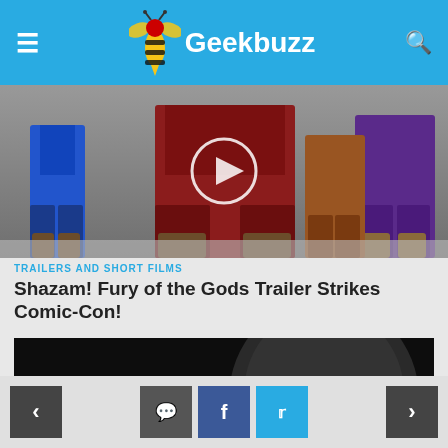Geekbuzz
[Figure (screenshot): Top portion of a movie/show scene showing costumed superhero characters standing, partially cropped with a video play button overlay]
TRAILERS AND SHORT FILMS
Shazam! Fury of the Gods Trailer Strikes Comic-Con!
[Figure (screenshot): Dark video thumbnail showing a monster/creature face with text 'ENDS THIS HALLOWEEN' and a play button overlay]
Navigation: left arrow, comment icon, Facebook icon, Twitter icon, right arrow